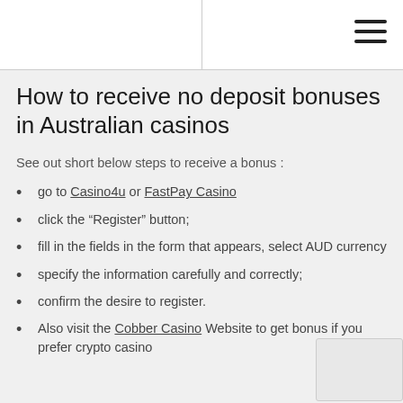How to receive no deposit bonuses in Australian casinos
See out short below steps to receive a bonus :
go to Casino4u or FastPay Casino
click the “Register” button;
fill in the fields in the form that appears, select AUD currency
specify the information carefully and correctly;
confirm the desire to register.
Also visit the Cobber Casino Website to get bonus if you prefer crypto casino